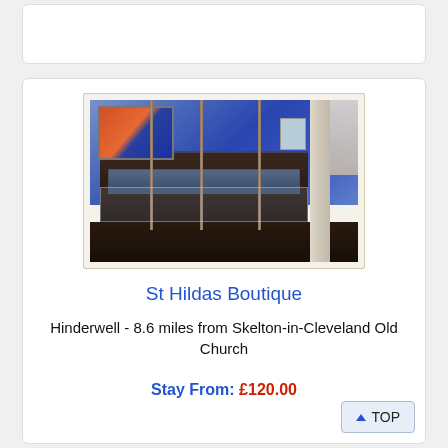[Figure (photo): Interior photo of a luxury bathroom/spa with blue ambient lighting, a large dark tiled bathtub, ornate golden figurine poles, a classical white column on the right, and a painting on the upper left wall.]
St Hildas Boutique
Hinderwell - 8.6 miles from Skelton-in-Cleveland Old Church
Stay From: £120.00